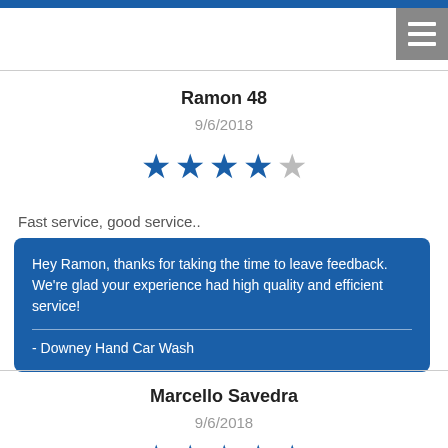Ramon 48
9/6/2018
[Figure (other): 4 blue stars and 1 gray star rating]
Fast service, good service..
Hey Ramon, thanks for taking the time to leave feedback. We're glad your experience had high quality and efficient service!
- Downey Hand Car Wash
Marcello Savedra
9/6/2018
[Figure (other): 5 blue stars rating]